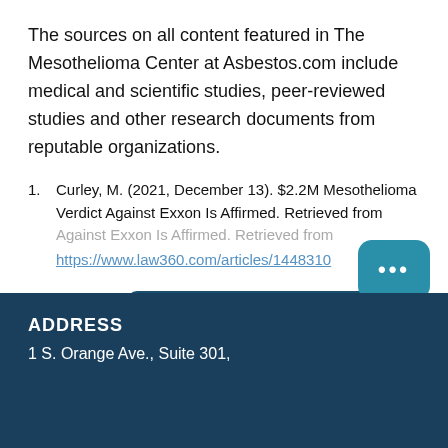The sources on all content featured in The Mesothelioma Center at Asbestos.com include medical and scientific studies, peer-reviewed studies and other research documents from reputable organizations.
Curley, M. (2021, December 13). $2.2M Mesothelioma Verdict Against Exxon Is Affirmed. Retrieved from https://www.law360.com/articles/1448310
[Figure (other): Dark teal 'View Sources +' button]
[Figure (other): Teal rounded square button with three dots (more/ellipsis)]
ADDRESS
1 S. Orange Ave., Suite 301,